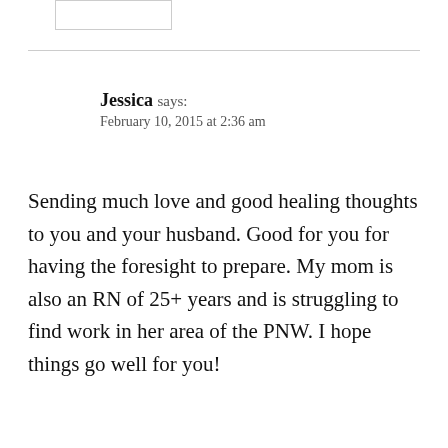Jessica says:
February 10, 2015 at 2:36 am
Sending much love and good healing thoughts to you and your husband. Good for you for having the foresight to prepare. My mom is also an RN of 25+ years and is struggling to find work in her area of the PNW. I hope things go well for you!